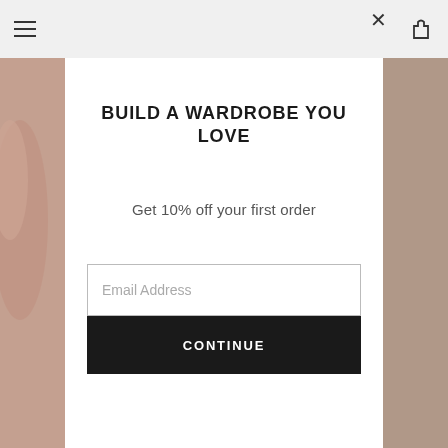[Figure (screenshot): Navigation bar with hamburger menu on left and cart icon on right, on light gray background]
[Figure (photo): Background photo visible on left and right sides of modal showing a person's arm/clothing in warm brown tones]
BUILD A WARDROBE YOU LOVE
Get 10% off your first order
Email Address
CONTINUE